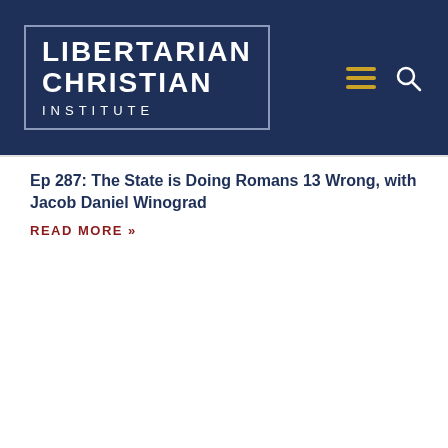[Figure (logo): Libertarian Christian Institute logo: white bold text on dark navy blue background with border, showing LIBERTARIAN CHRISTIAN INSTITUTE with hamburger menu icon in gold and search icon in white]
Ep 287: The State is Doing Romans 13 Wrong, with Jacob Daniel Winograd
READ MORE »